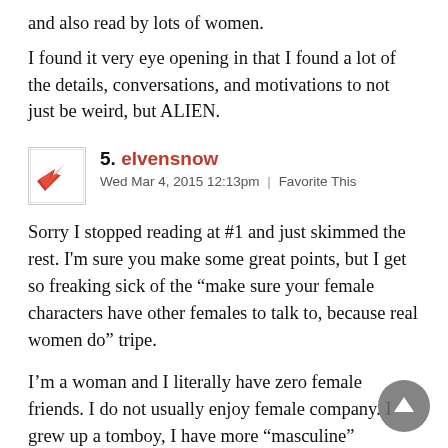and also read by lots of women.
I found it very eye opening in that I found a lot of the details, conversations, and motivations to not just be weird, but ALIEN.
5. elvensnow
Wed Mar 4, 2015 12:13pm | Favorite This
Sorry I stopped reading at #1 and just skimmed the rest. I'm sure you make some great points, but I get so freaking sick of the "make sure your female characters have other females to talk to, because real women do" tripe.
I'm a woman and I literally have zero female friends. I do not usually enjoy female company. I grew up a tomboy, I have more "masculine" interests, so I tend to...